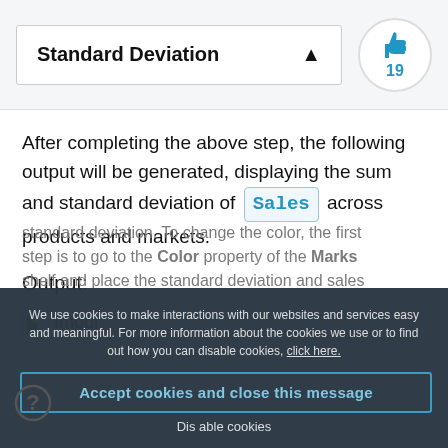Standard Deviation
After completing the above step, the following output will be generated, displaying the sum and standard deviation of Sales across products and markets.
Output:
[Figure (other): Broken image placeholder labeled Imgur]
We use cookies to make interactions with our websites and services easy and meaningful. For more information about the cookies we use or to find out how you can disable cookies, click here.
Accept cookies and close this message
Disable cookies
standard deviation. To change the color, the first step is to go to the Color property of the Marks shelf and place the standard deviation and sales